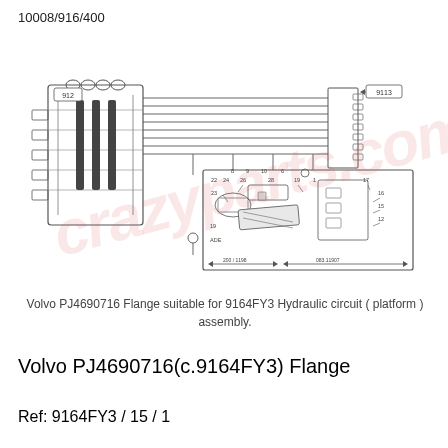10008/916/400
[Figure (engineering-diagram): Hydraulic circuit diagram for Volvo 9164FY3 platform assembly showing valve block (labeled 912), multiple hydraulic lines, connectors, and a detailed exploded view inset (labeled 9113) with numbered parts and dimension indicators.]
Volvo PJ4690716 Flange suitable for 9164FY3 Hydraulic circuit ( platform ) assembly.
Volvo PJ4690716(c.9164FY3) Flange
Ref: 9164FY3 / 15 / 1